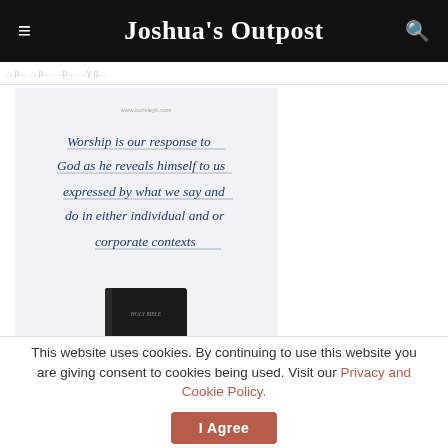Joshua's Outpost
[Figure (illustration): A light gray/white background image with cursive handwritten-style text reading: 'Worship is our response to God as he reveals himself to us expressed by what we say and do in either individual and or corporate contexts' with a small website URL at top (www.sorisleyb.com), and at the bottom a person's hands holding up a black Holy Bible against a light background.]
This website uses cookies. By continuing to use this website you are giving consent to cookies being used. Visit our Privacy and Cookie Policy.
I Agree